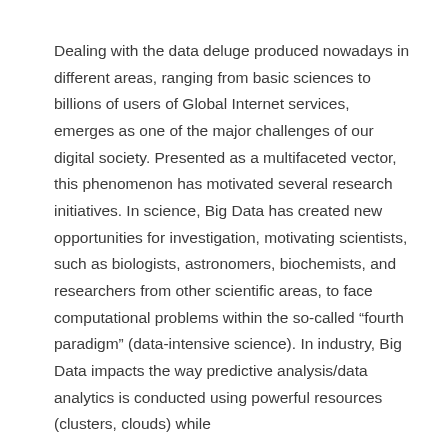Dealing with the data deluge produced nowadays in different areas, ranging from basic sciences to billions of users of Global Internet services, emerges as one of the major challenges of our digital society. Presented as a multifaceted vector, this phenomenon has motivated several research initiatives. In science, Big Data has created new opportunities for investigation, motivating scientists, such as biologists, astronomers, biochemists, and researchers from other scientific areas, to face computational problems within the so-called “fourth paradigm” (data-intensive science). In industry, Big Data impacts the way predictive analysis/data analytics is conducted using powerful resources (clusters, clouds) while